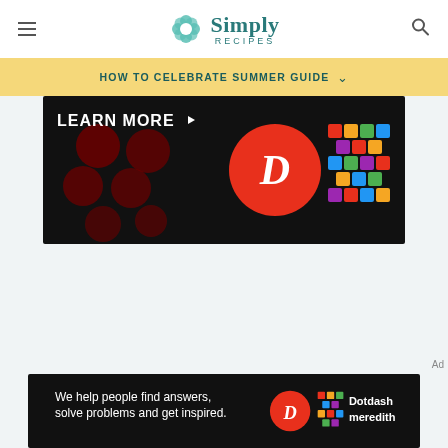Simply Recipes
HOW TO CELEBRATE SUMMER GUIDE
[Figure (screenshot): Advertisement banner with dark background showing LEARN MORE text, red Dotdash D logo, and colorful woven pattern logo]
[Figure (screenshot): Advertisement banner: We help people find answers, solve problems and get inspired. Dotdash meredith logo]